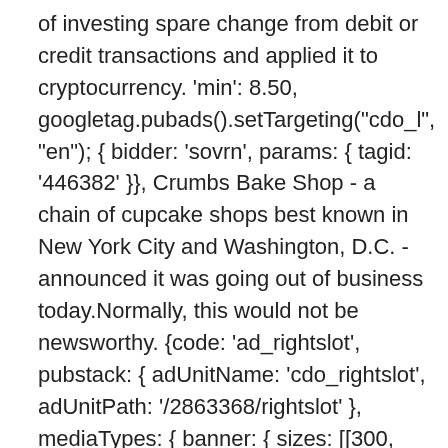of investing spare change from debit or credit transactions and applied it to cryptocurrency. 'min': 8.50, googletag.pubads().setTargeting("cdo_l", "en"); { bidder: 'sovrn', params: { tagid: '446382' }}, Crumbs Bake Shop - a chain of cupcake shops best known in New York City and Washington, D.C. - announced it was going out of business today.Normally, this would not be newsworthy. {code: 'ad_rightslot', pubstack: { adUnitName: 'cdo_rightslot', adUnitPath: '/2863368/rightslot' }, mediaTypes: { banner: { sizes: [[300, 250]] } }, Used within especially the BDSM community. Coat with bread crumbs and bake. crumbsyunknown. -🇰 🇰🇰🇰🇰. A very small piece broken from a baked item, such as a cookie, cake, or bread. Traditional bread crumb in the U.S. is basically bread of any type that's been dried and crumbled. var mapping_topslot_a =